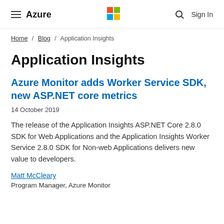≡ Azure  [Microsoft Logo]  🔍  Sign In
Home / Blog / Application Insights
Application Insights
Azure Monitor adds Worker Service SDK, new ASP.NET core metrics
14 October 2019
The release of the Application Insights ASP.NET Core 2.8.0 SDK for Web Applications and the Application Insights Worker Service 2.8.0 SDK for Non-web Applications delivers new value to developers.
Matt McCleary
Program Manager, Azure Monitor